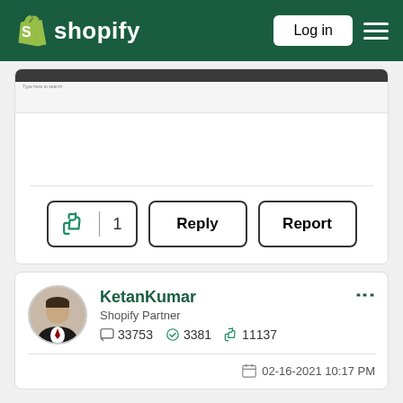shopify  Log in
[Figure (screenshot): Browser screenshot showing a webpage]
👍 1   Reply   Report
KetanKumar
Shopify Partner
33753  3381  11137
02-16-2021 10:17 PM